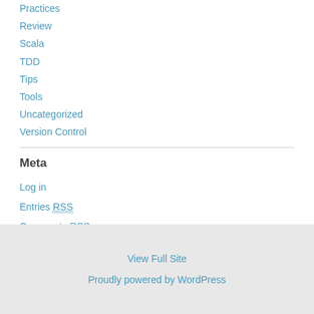Practices
Review
Scala
TDD
Tips
Tools
Uncategorized
Version Control
Meta
Log in
Entries RSS
Comments RSS
WordPress.org
View Full Site
Proudly powered by WordPress